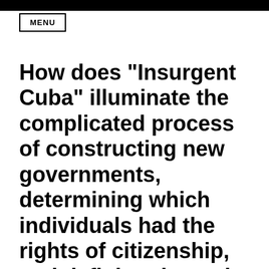MENU
How does "Insurgent Cuba" illuminate the complicated process of constructing new governments, determining which individuals had the rights of citizenship, and defining the nation in Latin America over the